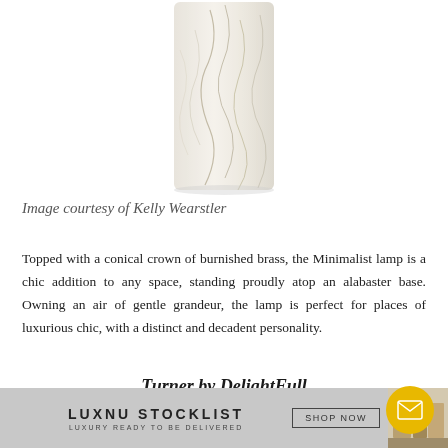[Figure (photo): A marble alabaster lamp base, white with grey/gold veining, cylindrical shape, shown against white background.]
Image courtesy of Kelly Wearstler
Topped with a conical crown of burnished brass, the Minimalist lamp is a chic addition to any space, standing proudly atop an alabaster base. Owning an air of gentle grandeur, the lamp is perfect for places of luxurious chic, with a distinct and decadent personality.
Turner by DelightFull
[Figure (screenshot): Footer banner with LUXNU STOCKLIST logo, LUXURY READY TO BE DELIVERED tagline, SHOP NOW button, and a small product room preview image.]